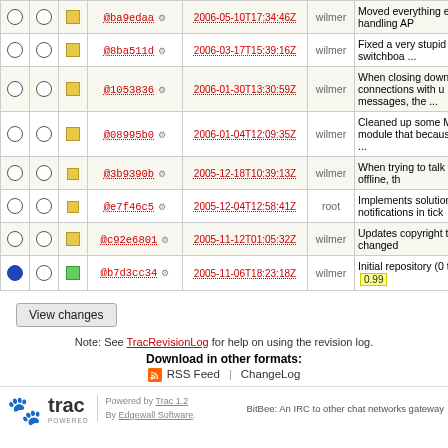|  |  |  | Rev | Date | Author | Log Message |
| --- | --- | --- | --- | --- | --- | --- |
| ○ | ○ | ▪ | @ba9edaa ⚙ | 2006-05-10T17:34:46Z | wilmer | Moved everything event handling AP |
| ○ | ○ | ▪ | @8ba511d ⚙ | 2006-03-17T15:39:16Z | wilmer | Fixed a very stupid "Closing switchboa ... |
| ○ | ○ | ▪ | @1053836 ⚙ | 2006-01-30T13:30:59Z | wilmer | When closing down connections with u messages, the ... |
| ○ | ○ | ▪ | @08995b0 ⚙ | 2006-01-04T12:09:35Z | wilmer | Cleaned up some MSN module that because of the ... |
| ○ | ○ | ▪ | @3b9390b ⚙ | 2005-12-18T10:39:13Z | wilmer | When trying to talk who are offline, th |
| ○ | ○ | ▪ | @e7f46c5 ⚙ | 2005-12-04T12:58:41Z | root | Implements solution notifications in tick |
| ○ | ○ | ▪ | @c92e6801 ⚙ | 2005-11-12T01:05:32Z | wilmer | Updates copyright that were changed |
| ● | ○ | ▪ | @b7d3cc34 ⚙ | 2005-11-06T18:23:18Z | wilmer | Initial repository (0 tree) 0.99 |
View changes
Note: See TracRevisionLog for help on using the revision log.
Download in other formats: RSS Feed | ChangeLog
Powered by Trac 1.2 By Edgewall Software. BitBee: An IRC to other chat networks gateway